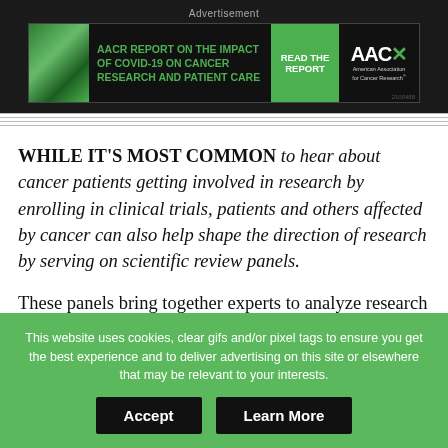[Figure (other): AACR advertisement banner: 'AACR REPORT ON THE IMPACT OF COVID-19 ON CANCER RESEARCH AND PATIENT CARE' with READ THE REPORT button and AACR logo. Ad ID: 2100488]
WHILE IT'S MOST COMMON to hear about cancer patients getting involved in research by enrolling in clinical trials, patients and others affected by cancer can also help shape the direction of research by serving on scientific review panels.
These panels bring together experts to analyze research proposals to help determine which ideas will
This website uses cookies, clear gifs and/or pixel tags to ensure you get the best experience and to deliver advertising on this site or elsewhere that may be relevant to your interests.
Accept   Learn More